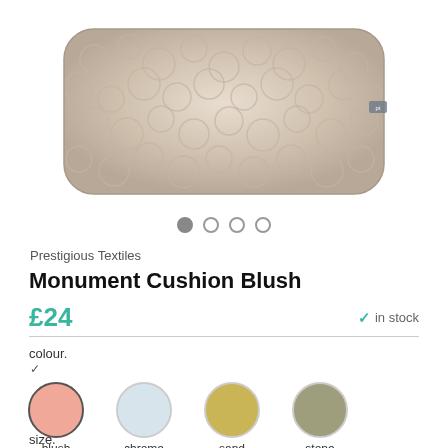[Figure (photo): A rectangular cushion with a beige/cream textured fabric featuring a bubbled or pebbled pattern. The cushion has rounded edges and a small label tag visible on the right side.]
Prestigious Textiles
Monument Cushion Blush
£24
in stock
colour.
blush
chrome
sand
stone
size.